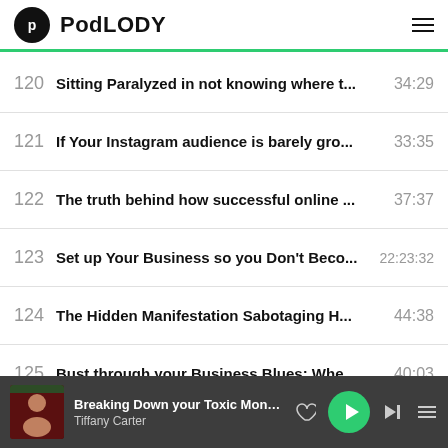PodLODY
120  Sitting Paralyzed in not knowing where t...  34:29
121  If Your Instagram audience is barely gro...  33:35
122  The truth behind how successful online ...  37:37
123  Set up Your Business so you Don't Beco...  22:23:32
124  The Hidden Manifestation Sabotaging H...  44:38
125  Bust through your Business Blues: Whe...  40:03
126  The Real Deal Behind Using Facebook A...  42:31
127  The Reality of Going After Your Dreams ...  56:28
Breaking Down your Toxic Money B...
Tiffany Carter